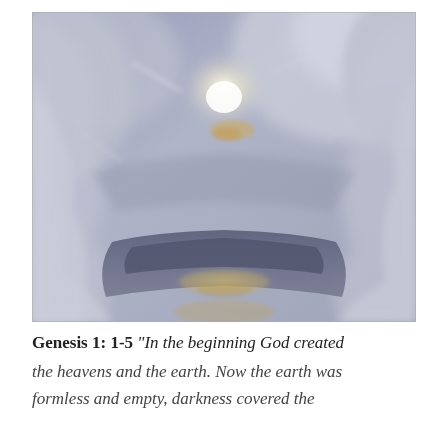[Figure (illustration): A romantic/Turner-esque oil painting showing swirling pale blue-grey clouds and mist parting to reveal a dark body of water below and a luminous white and golden light source (moon or sun) in the upper center, with golden reflections on the water below.]
Genesis 1: 1-5 "In the beginning God created the heavens and the earth. Now the earth was formless and empty, darkness covered the